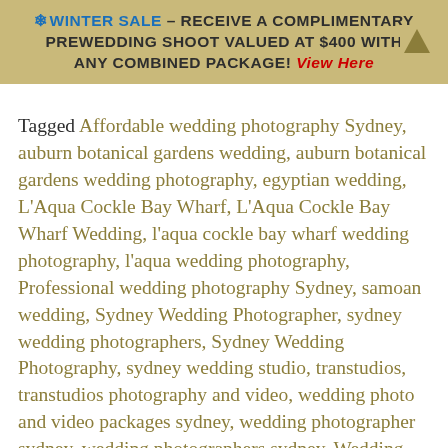❄ WINTER SALE – RECEIVE A COMPLIMENTARY PREWEDDING SHOOT VALUED AT $400 WITH ANY COMBINED PACKAGE! View Here
Tagged Affordable wedding photography Sydney, auburn botanical gardens wedding, auburn botanical gardens wedding photography, egyptian wedding, L'Aqua Cockle Bay Wharf, L'Aqua Cockle Bay Wharf Wedding, l'aqua cockle bay wharf wedding photography, l'aqua wedding photography, Professional wedding photography Sydney, samoan wedding, Sydney Wedding Photographer, sydney wedding photographers, Sydney Wedding Photography, sydney wedding studio, transtudios, transtudios photography and video, wedding photo and video packages sydney, wedding photographer sydney, wedding photographers sydney, Wedding photography in Sydney, wedding photography sydney, wedding video sydney, wedding videographer sydney